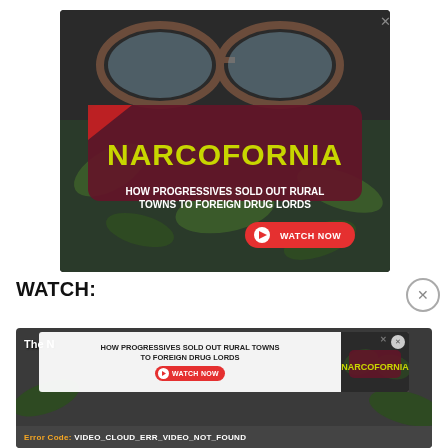[Figure (screenshot): Advertisement banner for 'Narcofornia' documentary with marijuana/glasses background image, maroon box with yellow 'NARCOFORNIA' text, white subtitle 'HOW PROGRESSIVES SOLD OUT RURAL TOWNS TO FOREIGN DRUG LORDS', red WATCH NOW button, and X close button]
WATCH:
[Figure (screenshot): Video player panel with gray background showing The [partial title], inner Narcofornia ad overlay, and error message 'Error Code: VIDEO_CLOUD_ERR_VIDEO_NOT_FOUND' at bottom]